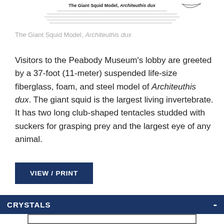[Figure (illustration): Small diagram/illustration of the Giant Squid Model, Architeuthis dux, with text labels above it — partial view at top of page]
The Giant Squid Model, Architeuthis dux
Visitors to the Peabody Museum's lobby are greeted by a 37-foot (11-meter) suspended life-size fiberglass, foam, and steel model of Architeuthis dux. The giant squid is the largest living invertebrate. It has two long club-shaped tentacles studded with suckers for grasping prey and the largest eye of any animal.
VIEW / PRINT
CRYSTALS
[Figure (illustration): Partial view of a diagram/illustration related to Crystals section, showing an outlined rectangle with a sketch inside — bottom of page, cropped]